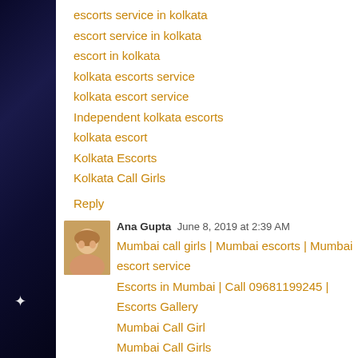escorts service in kolkata
escort service in kolkata
escort in kolkata
kolkata escorts service
kolkata escort service
Independent kolkata escorts
kolkata escort
Kolkata Escorts
Kolkata Call Girls
Reply
Ana Gupta  June 8, 2019 at 2:39 AM
Mumbai call girls | Mumbai escorts | Mumbai escort service
Escorts in Mumbai | Call 09681199245 | Escorts Gallery
Mumbai Call Girl
Mumbai Call Girls
Call Girls in Mumbai
VIP Call Girls in Mumbai
Russian Escorts in Mumbai
Mumbai Escort
Escort Services in Mumbai
Reply